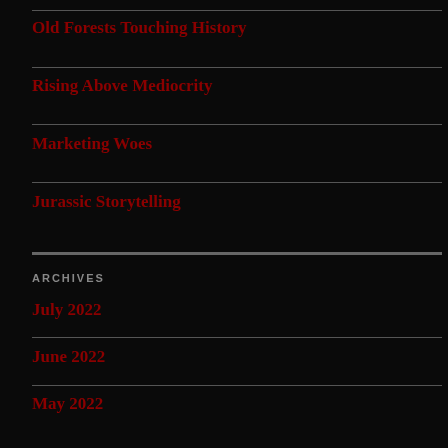Old Forests Touching History
Rising Above Mediocrity
Marketing Woes
Jurassic Storytelling
ARCHIVES
July 2022
June 2022
May 2022